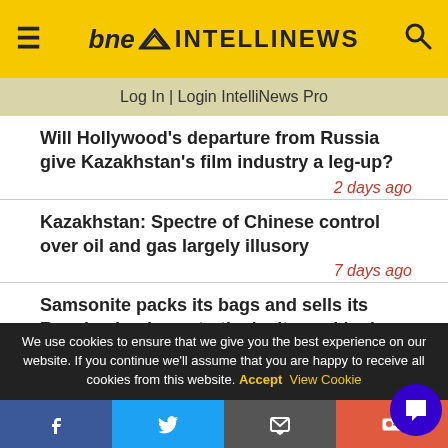bne INTELLINEWS
Log In | Login IntelliNews Pro
Will Hollywood's departure from Russia give Kazakhstan's film industry a leg-up?
2 days ago
Kazakhstan: Spectre of Chinese control over oil and gas largely illusory
7 days ago
Samsonite packs its bags and sells its Russian business to the 'suitcase king'
We use cookies to ensure that we give you the best experience on our website. If you continue we'll assume that you are happy to receive all cookies from this website. Accept  View Cookie
Facebook | Twitter | Email | RSS